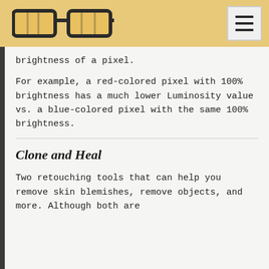[Figure (logo): Glasses logo icon on yellow/tan navigation bar with hamburger menu icon on right]
brightness of a pixel.
For example, a red-colored pixel with 100% brightness has a much lower Luminosity value vs. a blue-colored pixel with the same 100% brightness.
Clone and Heal
Two retouching tools that can help you remove skin blemishes, remove objects, and more. Although both are